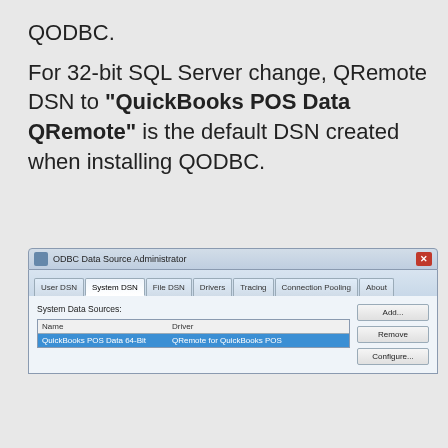QODBC.
For 32-bit SQL Server change, QRemote DSN to "QuickBooks POS Data QRemote" is the default DSN created when installing QODBC.
[Figure (screenshot): ODBC Data Source Administrator window showing System DSN tab with QuickBooks POS Data 64-Bit listed, using driver QRemote for QuickBooks POS. Buttons: Add..., Remove, Configure...]